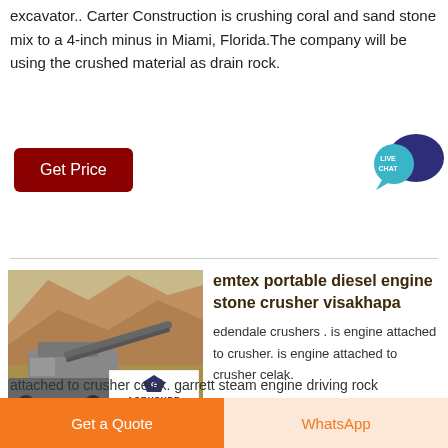excavator.. Carter Construction is crushing coral and sand stone mix to a 4-inch minus in Miami, Florida.The company will be using the crushed material as drain rock.
[Figure (other): Live Chat speech bubble icon with teal/blue color and white text LIVE CHAT]
Get Price
[Figure (photo): Portable stone crusher machinery at a quarry/mining site with rocky terrain in background; ACRUSHER Mining Equipment logo overlay]
emtex portable diesel engine stone crusher visakhapa
edendale crushers . is engine attached to crusher. is engine attached to crusher celak. garrett steam engine driving rock
Get a Quote
WhatsApp